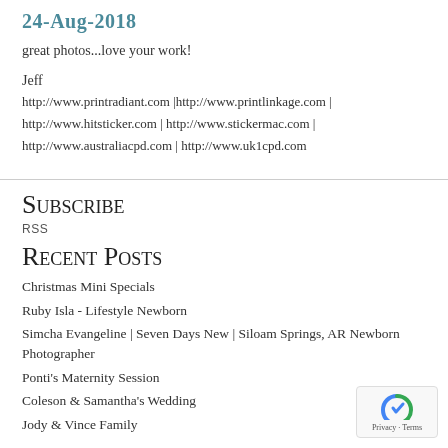24-Aug-2018
great photos...love your work!
Jeff
http://www.printradiant.com |http://www.printlinkage.com | http://www.hitsticker.com | http://www.stickermac.com | http://www.australiacpd.com | http://www.uk1cpd.com
Subscribe
RSS
Recent Posts
Christmas Mini Specials
Ruby Isla - Lifestyle Newborn
Simcha Evangeline | Seven Days New | Siloam Springs, AR Newborn Photographer
Ponti's Maternity Session
Coleson & Samantha's Wedding
Jody & Vince Family